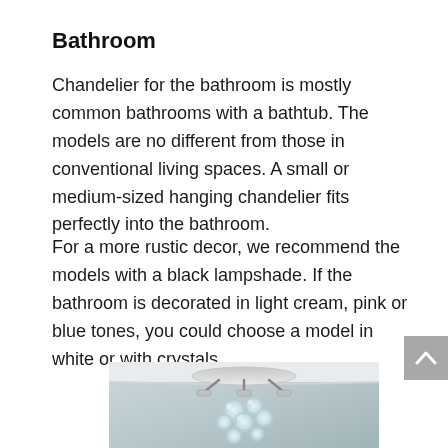Bathroom
Chandelier for the bathroom is mostly common bathrooms with a bathtub. The models are no different from those in conventional living spaces. A small or medium-sized hanging chandelier fits perfectly into the bathroom.
For a more rustic decor, we recommend the models with a black lampshade. If the bathroom is decorated in light cream, pink or blue tones, you could choose a model in white or with crystals.
[Figure (photo): A crystal/glass bubble chandelier mounted on a ceiling, photographed from below in a bathroom with light grey-blue walls and white crown molding.]